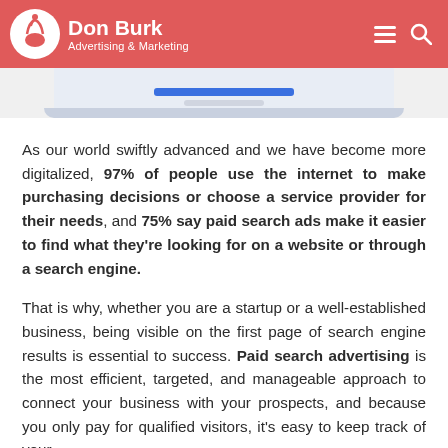Don Burk Advertising & Marketing
[Figure (illustration): Laptop illustration showing a browser/email interface with red and blue elements, partially visible at top of page]
As our world swiftly advanced and we have become more digitalized, 97% of people use the internet to make purchasing decisions or choose a service provider for their needs, and 75% say paid search ads make it easier to find what they're looking for on a website or through a search engine.
That is why, whether you are a startup or a well-established business, being visible on the first page of search engine results is essential to success. Paid search advertising is the most efficient, targeted, and manageable approach to connect your business with your prospects, and because you only pay for qualified visitors, it's easy to keep track of your